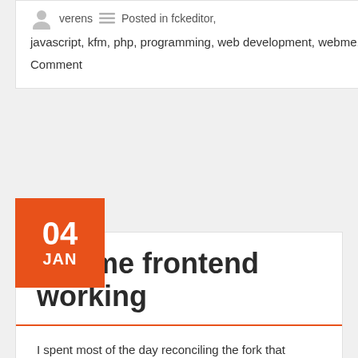verens  Posted in fckeditor, javascript, kfm, php, programming, web development, webme, webworks  1 Comment
webme frontend working
I spent most of the day reconciling the fork that yesterday's work created, then started work on the front end.

The original version of WebME uses a